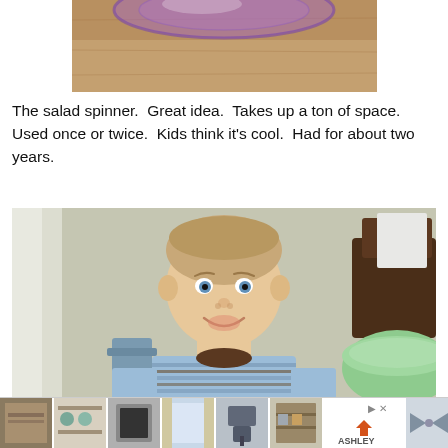[Figure (photo): Close-up photo of a salad spinner on a wooden surface, showing the purple/translucent lid from above]
The salad spinner.  Great idea.  Takes up a ton of space.  Used once or twice.  Kids think it's cool.  Had for about two years.
[Figure (photo): A young smiling boy with short hair wearing a blue and brown striped long-sleeve shirt, sitting at a table with a green bowl visible on the right and a bed in the background]
[Figure (photo): Advertisement bar at bottom showing thumbnail images of home furnishings and an Ashley Furniture logo]